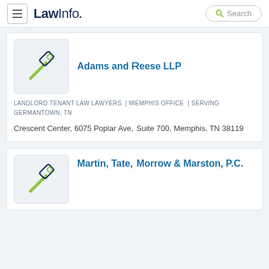LawInfo. Search
[Figure (logo): Gavel icon for Adams and Reese LLP]
Adams and Reese LLP
LANDLORD TENANT LAW LAWYERS | MEMPHIS OFFICE | SERVING GERMANTOWN, TN
Crescent Center, 6075 Poplar Ave, Suite 700, Memphis, TN 38119
[Figure (logo): Gavel icon for Martin, Tate, Morrow & Marston, P.C.]
Martin, Tate, Morrow & Marston, P.C.